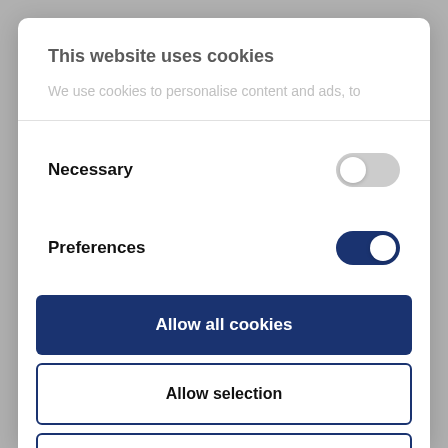This website uses cookies
We use cookies to personalise content and ads, to
Necessary
Preferences
Allow all cookies
Allow selection
Use necessary cookies only